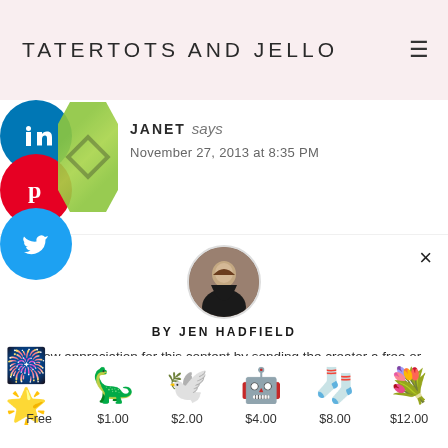TATERTOTS AND JELLO
[Figure (screenshot): Social media share icons: LinkedIn (blue), Pinterest (red), Twitter (blue) stacked vertically on left side, with green decorative element]
JANET says
November 27, 2013 at 8:35 PM
[Figure (photo): Circular avatar photo of Jen Hadfield, a woman with long brown hair wearing a dark shirt]
BY JEN HADFIELD
Show appreciation for this content by sending the creator a free or paid sticker.
[Figure (infographic): Row of sticker options with prices: Free (fireworks/star sticker), $1.00 (green dinosaur), $2.00 (gold origami crane), $4.00 (blue robot), $8.00 (blue sock with knitting needles), $12.00 (floral bouquet)]